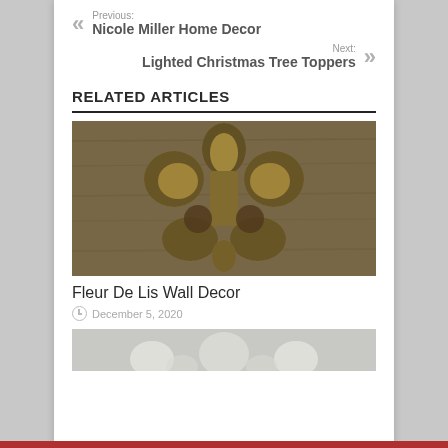Previous: Nicole Miller Home Decor
Next: Lighted Christmas Tree Toppers
RELATED ARTICLES
[Figure (photo): A wooden fleur de lis wall decor piece with black and gold distressed finish on a wooden background]
Fleur De Lis Wall Decor
December 5, 2020
[Figure (photo): Partial view of another decorative wall art piece, white ornamental design, cropped at bottom of page]